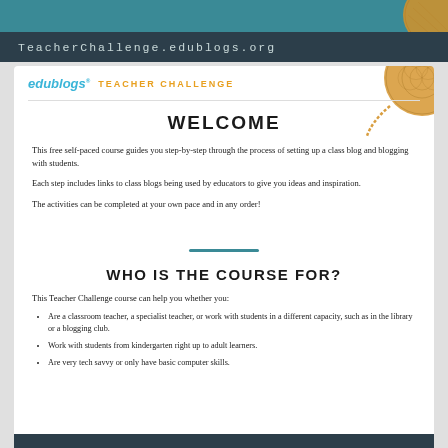TeacherChallenge.edublogs.org
WELCOME
This free self-paced course guides you step-by-step through the process of setting up a class blog and blogging with students.
Each step includes links to class blogs being used by educators to give you ideas and inspiration.
The activities can be completed at your own pace and in any order!
WHO IS THE COURSE FOR?
This Teacher Challenge course can help you whether you:
Are a classroom teacher, a specialist teacher, or work with students in a different capacity, such as in the library or a blogging club.
Work with students from kindergarten right up to adult learners.
Are very tech savvy or only have basic computer skills.